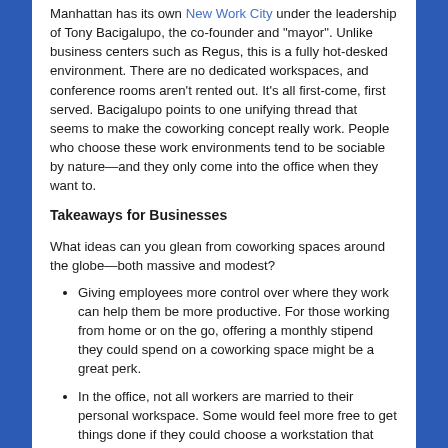Manhattan has its own New Work City under the leadership of Tony Bacigalupo, the co-founder and "mayor". Unlike business centers such as Regus, this is a fully hot-desked environment. There are no dedicated workspaces, and conference rooms aren't rented out. It's all first-come, first served. Bacigalupo points to one unifying thread that seems to make the coworking concept really work. People who choose these work environments tend to be sociable by nature—and they only come into the office when they want to.
Takeaways for Businesses
What ideas can you glean from coworking spaces around the globe—both massive and modest?
Giving employees more control over where they work can help them be more productive. For those working from home or on the go, offering a monthly stipend they could spend on a coworking space might be a great perk.
In the office, not all workers are married to their personal workspace. Some would feel more free to get things done if they could choose a workstation that suits them based on their mood or assigned tasks from day to day. Touchdown spots, work lounges, and "Quiet Spaces" could add more choices to